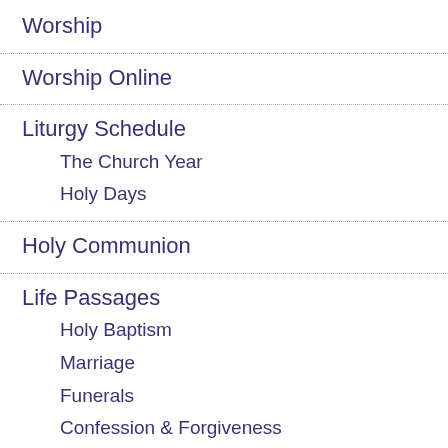Worship
Worship Online
Liturgy Schedule
The Church Year
Holy Days
Holy Communion
Life Passages
Holy Baptism
Marriage
Funerals
Confession & Forgiveness
Sermons